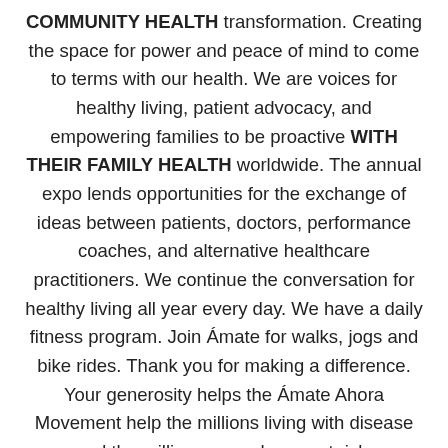COMMUNITY HEALTH transformation. Creating the space for power and peace of mind to come to terms with our health. We are voices for healthy living, patient advocacy, and empowering families to be proactive WITH THEIR FAMILY HEALTH worldwide. The annual expo lends opportunities for the exchange of ideas between patients, doctors, performance coaches, and alternative healthcare practitioners. We continue the conversation for healthy living all year every day. We have a daily fitness program. Join Ámate for walks, jogs and bike rides. Thank you for making a difference. Your generosity helps the Ámate Ahora Movement help the millions living with disease and the million more who are at risk. ÁmateAhora wants to continue developing relationships with organizations like you that are committed and willing to work with ÁmateAhora. To elevate a sense of urgency around chronic disease, patient care, patient empowerment, caregiver support, and inspire overall healthy living; educating families